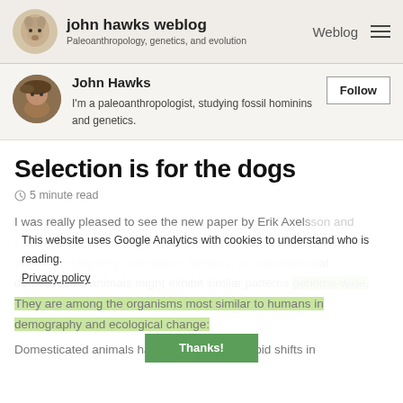john hawks weblog — Paleoanthropology, genetics, and evolution | Weblog
John Hawks
I'm a paleoanthropologist, studying fossil hominins and genetics.
Selection is for the dogs
⏱ 5 minute read
I was really pleased to see the new paper by Erik Axelsson and colleagues on the pattern of recent selection in dogs. When we began working on selection in humans, we expected that domesticated animals might exhibit similar patterns genome-wide. They are among the organisms most similar to humans in demography and ecological change: Domesticated animals have all undergone rapid shifts in
This website uses Google Analytics with cookies to understand who is reading.
Privacy policy
Thanks!